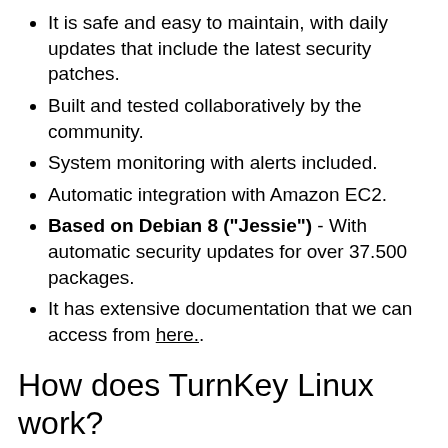It is safe and easy to maintain, with daily updates that include the latest security patches.
Built and tested collaboratively by the community.
System monitoring with alerts included.
Automatic integration with Amazon EC2.
Based on Debian 8 ("Jessie") - With automatic security updates for over 37.500 packages.
It has extensive documentation that we can access from here..
How does TurnKey Linux work?
The easiest way to use TurnKey Linux is by downloading the image of the application we want to deploy. To do this we must access the official website https://www.turnkeylinux.org and download the image